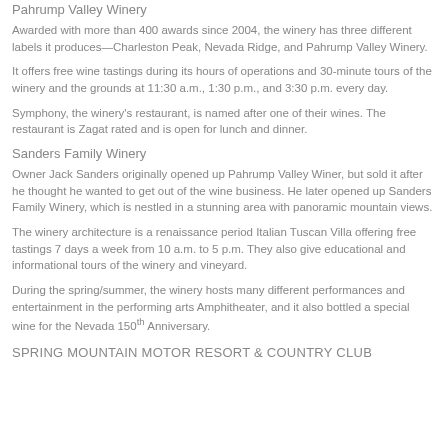Pahrump Valley Winery
Awarded with more than 400 awards since 2004, the winery has three different labels it produces—Charleston Peak, Nevada Ridge, and Pahrump Valley Winery.
It offers free wine tastings during its hours of operations and 30-minute tours of the winery and the grounds at 11:30 a.m., 1:30 p.m., and 3:30 p.m. every day.
Symphony, the winery's restaurant, is named after one of their wines. The restaurant is Zagat rated and is open for lunch and dinner.
Sanders Family Winery
Owner Jack Sanders originally opened up Pahrump Valley Winer, but sold it after he thought he wanted to get out of the wine business. He later opened up Sanders Family Winery, which is nestled in a stunning area with panoramic mountain views.
The winery architecture is a renaissance period Italian Tuscan Villa offering free tastings 7 days a week from 10 a.m. to 5 p.m. They also give educational and informational tours of the winery and vineyard.
During the spring/summer, the winery hosts many different performances and entertainment in the performing arts Amphitheater, and it also bottled a special wine for the Nevada 150th Anniversary.
SPRING MOUNTAIN MOTOR RESORT & COUNTRY CLUB